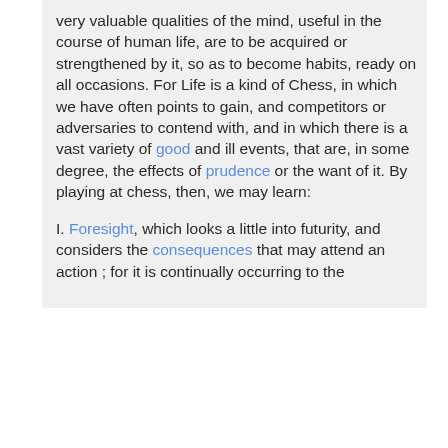very valuable qualities of the mind, useful in the course of human life, are to be acquired or strengthened by it, so as to become habits, ready on all occasions. For Life is a kind of Chess, in which we have often points to gain, and competitors or adversaries to contend with, and in which there is a vast variety of good and ill events, that are, in some degree, the effects of prudence or the want of it. By playing at chess, then, we may learn:
I. Foresight, which looks a little into futurity, and considers the consequences that may attend an action ; for it is continually occurring to the